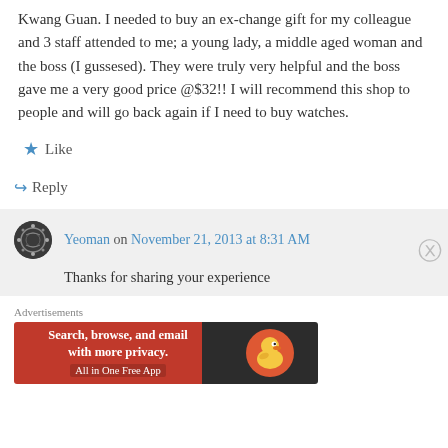Kwang Guan. I needed to buy an ex-change gift for my colleague and 3 staff attended to me; a young lady, a middle aged woman and the boss (I gussesed). They were truly very helpful and the boss gave me a very good price @$32!! I will recommend this shop to people and will go back again if I need to buy watches.
Like
Reply
Yeoman on November 21, 2013 at 8:31 AM
Thanks for sharing your experience
[Figure (infographic): DuckDuckGo advertisement banner: 'Search, browse, and email with more privacy. All in One Free App' on red background with DuckDuckGo logo on dark background]
Advertisements